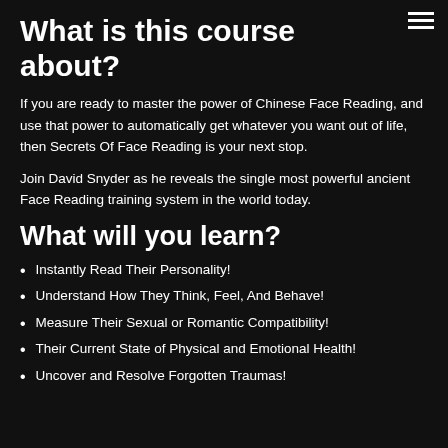What is this course about?
If you are ready to master the power of Chinese Face Reading, and use that power to automatically get whatever you want out of life, then Secrets Of Face Reading is your next stop.
Join David Snyder as he reveals the single most powerful ancient Face Reading training system in the world today.
What will you learn?
Instantly Read Their Personality!
Understand How They Think, Feel, And Behave!
Measure Their Sexual or Romantic Compatibility!
Their Current State of Physical and Emotional Health!
Uncover and Resolve Forgotten Traumas!